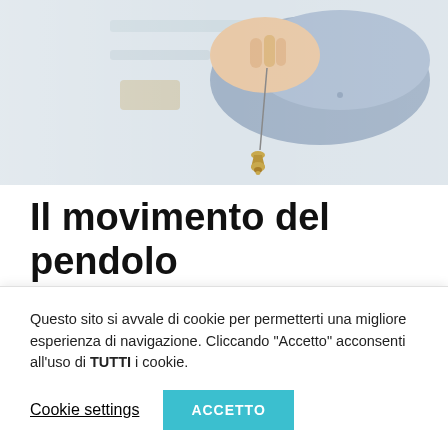[Figure (photo): A hand holding a pendulum (brass plumb bob on a string) with a blurred background of shelves. Person wearing a blue shirt.]
Il movimento del pendolo
16/06/2021in Articoli e interviste | Notes v
Questo sito si avvale di cookie per permetterti una migliore esperienza di navigazione. Cliccando “Accetto” acconsenti all’uso di TUTTI i cookie.
Cookie settings
ACCETTO